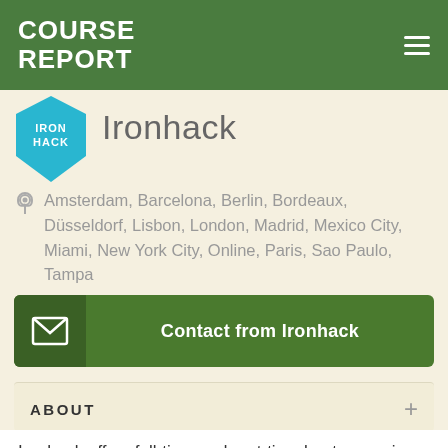COURSE REPORT
[Figure (logo): Ironhack logo badge - blue pentagon shape with IRON HACK text in white]
Ironhack
Amsterdam, Barcelona, Berlin, Bordeaux, Düsseldorf, Lisbon, London, Madrid, Mexico City, Miami, New York City, Online, Paris, Sao Paulo, Tampa
Contact from Ironhack
ABOUT
Ironhack offers full-time and part-time bootcamps in Web Development, UX/UI design, Data Analytics and